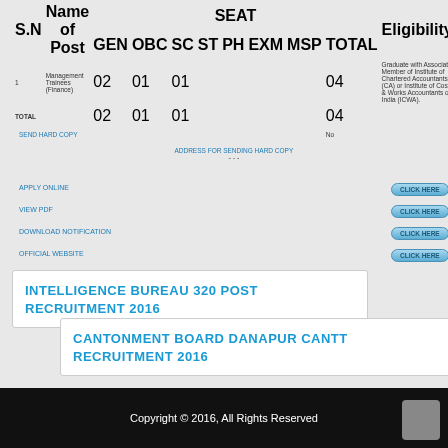| S.N | Name of Post | GEN | OBC | SC | ST | PH | EXM | MSP | TOTAL | Eligibility |
| --- | --- | --- | --- | --- | --- | --- | --- | --- | --- | --- |
| 1 | Management Trainees (Finance) | 02 | 01 | 01 |  |  |  |  | 04 | Graduate with Associate Member of Institute of Chartered Accountants (CA) or Institute of Cost & Works Accountants of India (ICWA). |
| TOTAL |  | 02 | 01 | 01 |  |  |  |  | 04 |  |
| SEND HARD COPY |  |  |  |  |  |  |  |  |  | No |
| ADDRESS FOR SENDING HARD COPY |  |  |  |  |  |  |  |  |  | --- |
| APPLY ONLINE | CLICK HERE |
| VIEW PDF | CLICK HERE |
| DOWNLOAD NOTIFICATION | CLICK HERE |
| OFFICIAL WEBSITE | CLICK HERE |
INTELLIGENCE BUREAU 320 POST RECRUITMENT 2016
CANTONMENT BOARD DANAPUR CANTT RECRUITMENT 2016
Copyright © 2016, All Rights Reserved